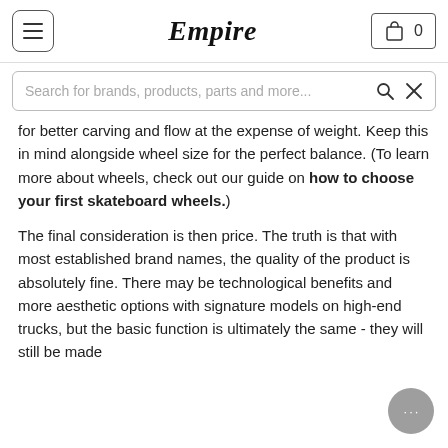Empire — navigation header with hamburger menu, Empire logo, and cart icon showing 0 items
Search for brands, products, parts and more...
for better carving and flow at the expense of weight. Keep this in mind alongside wheel size for the perfect balance. (To learn more about wheels, check out our guide on how to choose your first skateboard wheels.)
The final consideration is then price. The truth is that with most established brand names, the quality of the product is absolutely fine. There may be technological benefits and more aesthetic options with signature models on high-end trucks, but the basic function is ultimately the same - they will still be made